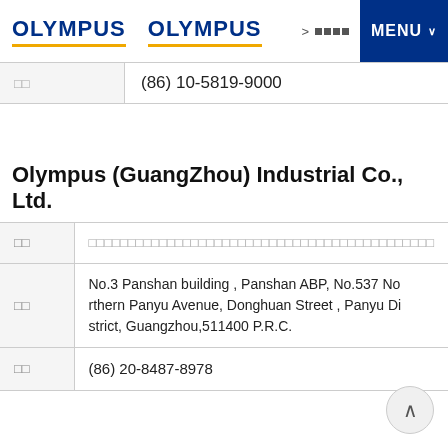OLYMPUS  OLYMPUS  > □□□□
| □□ |  |
| --- | --- |
| □□ | (86) 10-5819-9000 |
Olympus (GuangZhou) Industrial Co., Ltd.
|  |  |
| --- | --- |
| □□ | □□□□□□□□□□□□□□□□□□□□□□□□□□□□□□□□□□□□□□□□□□□□ |
| □□ | No.3 Panshan building , Panshan ABP, No.537 Northern Panyu Avenue, Donghuan Street , Panyu District, Guangzhou,511400 P.R.C. |
| □□ | (86) 20-8487-8978 |